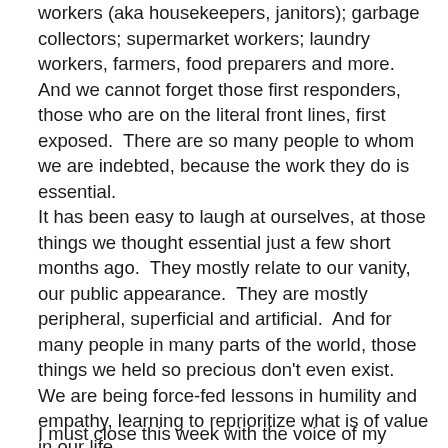workers (aka housekeepers, janitors); garbage collectors; supermarket workers; laundry workers, farmers, food preparers and more.  And we cannot forget those first responders, those who are on the literal front lines, first exposed.  There are so many people to whom we are indebted, because the work they do is essential.
It has been easy to laugh at ourselves, at those things we thought essential just a few short months ago.  They mostly relate to our vanity, our public appearance.  They are mostly peripheral, superficial and artificial.  And for many people in many parts of the world, those things we held so precious don't even exist.  We are being force-fed lessons in humility and empathy, learning to reprioritize what is of value in our life.
I must close this week with the voice of my father echoing